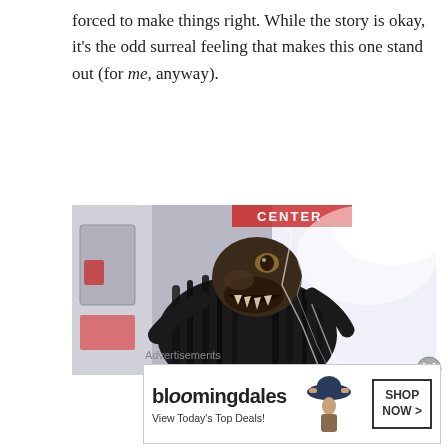forced to make things right. While the story is okay, it's the odd surreal feeling that makes this one stand out (for me, anyway).
[Figure (photo): A creature in a dark furry costume with a monstrous fish-like head with sharp teeth and a large eye, standing in what appears to be a subway or train car doorway. The creature is surrounded by sparkling light effects. A red sign reading CENTER is partially visible at the top.]
Advertisements
[Figure (other): Bloomingdale's advertisement banner: 'bloomingdales - View Today's Top Deals!' with an image of a woman in a large hat and a 'SHOP NOW >' button.]